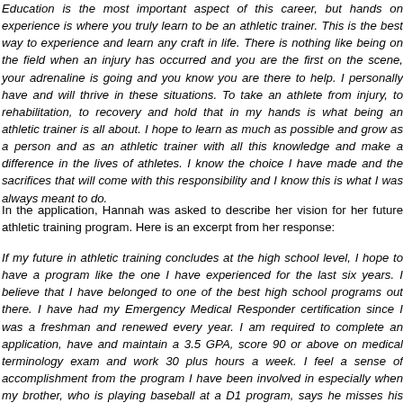Education is the most important aspect of this career, but hands on experience is where you truly learn to be an athletic trainer. This is the best way to experience and learn any craft in life. There is nothing like being on the field when an injury has occurred and you are the first on the scene, your adrenaline is going and you know you are there to help. I personally have and will thrive in these situations. To take an athlete from injury, to rehabilitation, to recovery and hold that in my hands is what being an athletic trainer is all about. I hope to learn as much as possible and grow as a person and as an athletic trainer with all this knowledge and make a difference in the lives of athletes. I know the choice I have made and the sacrifices that will come with this responsibility and I know this is what I was always meant to do.
In the application, Hannah was asked to describe her vision for her future athletic training program. Here is an excerpt from her response:
If my future in athletic training concludes at the high school level, I hope to have a program like the one I have experienced for the last six years. I believe that I have belonged to one of the best high school programs out there. I have had my Emergency Medical Responder certification since I was a freshman and renewed it every year. I am required to complete an application, have and maintain a 3.5 GPA, score 90 or above on medical terminology exam and work 30 plus hours a week. I feel a sense of accomplishment from the program I have been involved in especially when my brother, who is playing baseball at a D1 program, says he misses his high school athletic trainer. That is when you know you have done a good job.